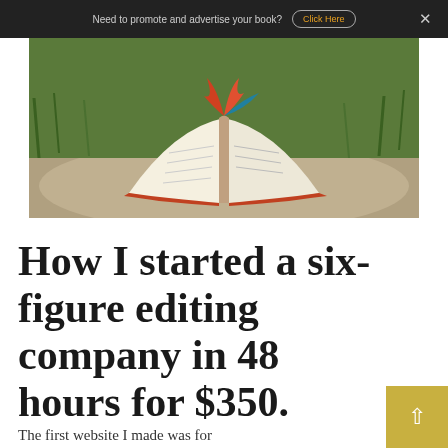Need to promote and advertise your book? Click Here ×
[Figure (photo): Open book lying on a rock outdoors, surrounded by green grass and vegetation, with colorful pages fanned open]
How I started a six-figure editing company in 48 hours for $350.
The first website I made was for